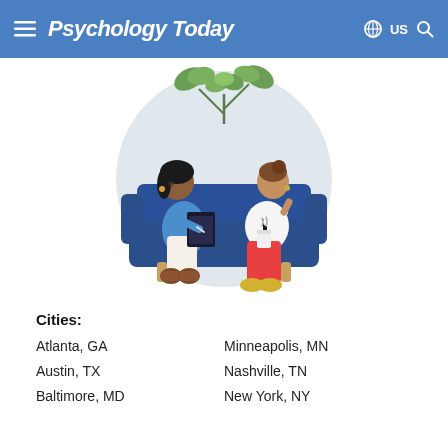Psychology Today  US
[Figure (illustration): Illustration of a therapy session: two women sitting on a blue sofa. One woman (therapist) in a blue top holding a clipboard/notepad, the other woman in a white top and red pants holding a cup, gesturing. A potted plant with green leaves is in the background. The scene is set within a light grey circle.]
Cities:
Atlanta, GA
Minneapolis, MN
Austin, TX
Nashville, TN
Baltimore, MD
New York, NY